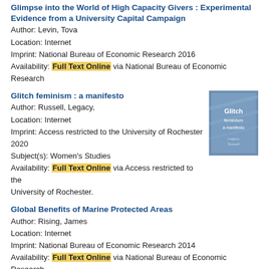Glimpse into the World of High Capacity Givers : Experimental Evidence from a University Capital Campaign
Author: Levin, Tova
Location: Internet
Imprint: National Bureau of Economic Research 2016
Availability: Full Text Online via National Bureau of Economic Research
Glitch feminism : a manifesto
Author: Russell, Legacy,
Location: Internet
Imprint: Access restricted to the University of Rochester 2020
Subject(s): Women's Studies
Availability: Full Text Online via Access restricted to the University of Rochester.
[Figure (illustration): Book cover for Glitch feminism: a manifesto, blue/purple cover with white text]
Global Benefits of Marine Protected Areas
Author: Rising, James
Location: Internet
Imprint: National Bureau of Economic Research 2014
Availability: Full Text Online via National Bureau of Economic Research
Global Benefits of Open Research : The 2018 MDPI Writing Prize
Location: Internet
Imprint: OAPEN Free 2018
Availability: Full Text Online via OAPEN Free
Global Branding, Business Without Borders
Location: Internet
Imprint: Access restricted to the University of Rochester 2017